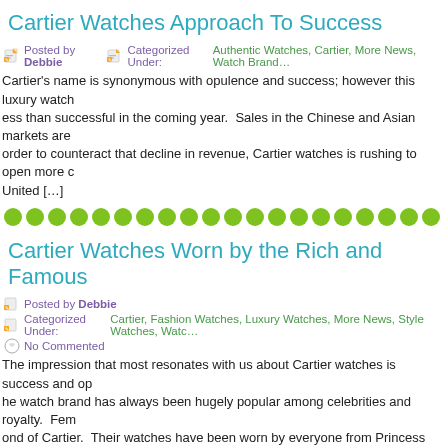Cartier Watches Approach To Success
Posted by Debbie   Categorized Under: Authentic Watches, Cartier, More News, Watch Brands
Cartier's name is synonymous with opulence and success; however this luxury watch…ess than successful in the coming year. Sales in the Chinese and Asian markets are…order to counteract that decline in revenue, Cartier watches is rushing to open more…United […]
Cartier Watches Worn by the Rich and Famous
Posted by Debbie   Categorized Under: Cartier, Fashion Watches, Luxury Watches, More News, Style Watches, Watch…   No Commented
The impression that most resonates with us about Cartier watches is success and op…he watch brand has always been hugely popular among celebrities and royalty. Fem…ond of Cartier. Their watches have been worn by everyone from Princess Diana to A…O and […]
Cartier, Gotta Love Them